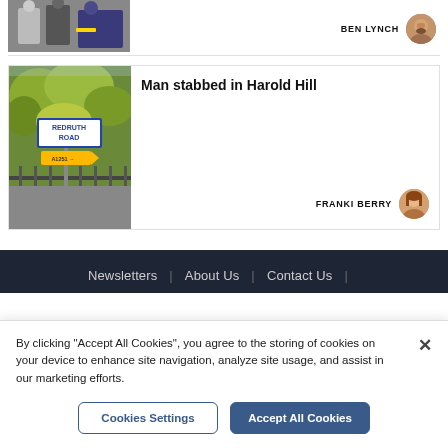[Figure (photo): Cropped photo showing two people standing, partially visible, dark background]
BEN LYNCH
[Figure (photo): Street sign photo showing 'Redruth Road' sign with trees and fence in background]
Man stabbed in Harold Hill
FRANKI BERRY
Newsletters | About Us | Contact Us |
By clicking "Accept All Cookies", you agree to the storing of cookies on your device to enhance site navigation, analyze site usage, and assist in our marketing efforts.
Cookies Settings
Accept All Cookies